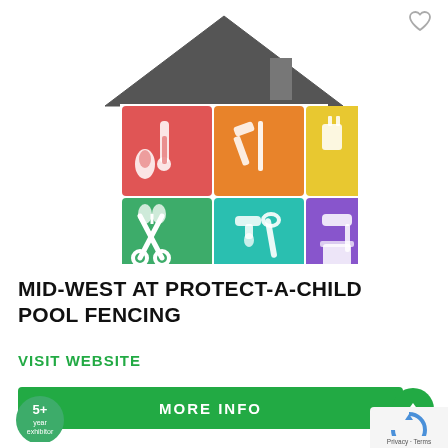[Figure (logo): Home improvement services logo: a house silhouette with six colored tiles showing tools - red tile (flame/thermometer), orange tile (hammer/tools), yellow tile (electrical plug/screwdriver), green tile (garden scissors/plant), teal tile (faucet/wrench), purple tile (paint roller/bucket)]
MID-WEST AT PROTECT-A-CHILD POOL FENCING
VISIT WEBSITE
MORE INFO